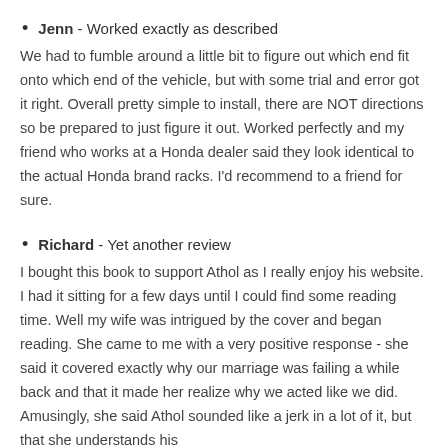Jenn - Worked exactly as described
We had to fumble around a little bit to figure out which end fit onto which end of the vehicle, but with some trial and error got it right. Overall pretty simple to install, there are NOT directions so be prepared to just figure it out. Worked perfectly and my friend who works at a Honda dealer said they look identical to the actual Honda brand racks. I'd recommend to a friend for sure.
Richard - Yet another review
I bought this book to support Athol as I really enjoy his website. I had it sitting for a few days until I could find some reading time. Well my wife was intrigued by the cover and began reading. She came to me with a very positive response - she said it covered exactly why our marriage was failing a while back and that it made her realize why we acted like we did. Amusingly, she said Athol sounded like a jerk in a lot of it, but that she understands his